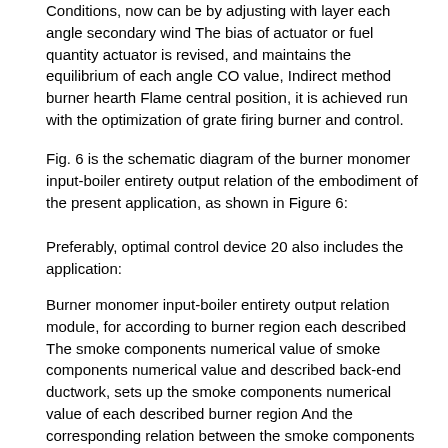Conditions, now can be by adjusting with layer each angle secondary wind The bias of actuator or fuel quantity actuator is revised, and maintains the equilibrium of each angle CO value, Indirect method burner hearth Flame central position, it is achieved run with the optimization of grate firing burner and control.
Fig. 6 is the schematic diagram of the burner monomer input-boiler entirety output relation of the embodiment of the present application, as shown in Figure 6:
Preferably, optimal control device 20 also includes the application:
Burner monomer input-boiler entirety output relation module, for according to burner region each described The smoke components numerical value of smoke components numerical value and described back-end ductwork, sets up the smoke components numerical value of each described burner region And the corresponding relation between the smoke components numerical value of described back-end ductwork, complete air distribution amount overall to boiler and adjust recommended value and divide Join, and judge whether the air distribution value